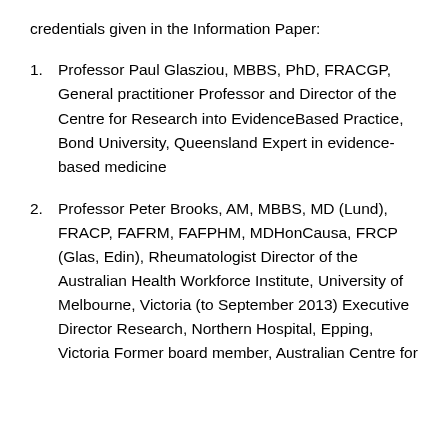credentials given in the Information Paper:
Professor Paul Glasziou, MBBS, PhD, FRACGP, General practitioner Professor and Director of the Centre for Research into EvidenceBased Practice, Bond University, Queensland Expert in evidence-based medicine
Professor Peter Brooks, AM, MBBS, MD (Lund), FRACP, FAFRM, FAFPHM, MDHonCausa, FRCP (Glas, Edin), Rheumatologist Director of the Australian Health Workforce Institute, University of Melbourne, Victoria (to September 2013) Executive Director Research, Northern Hospital, Epping, Victoria Former board member, Australian Centre for